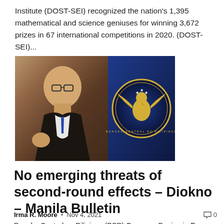Institute (DOST-SEI) recognized the nation's 1,395 mathematical and science geniuses for winning 3,672 prizes in 67 international competitions in 2020. (DOST-SEI)...
[Figure (photo): Photo of Bangko Sentral ng Pilipinas (BSP) Governor Benjamin E. Diokno alongside the BSP official seal (eagle emblem on blue background with gold border)]
No emerging threats of second-round effects – Diokno – Manila Bulletin
Irma R. Moore • Nov 4, 2021 💬 0
Bangko Sentral ng Pilipinas (BSP) Governor Benjamin E. Diokno said no evidence of second-round pressures was visible on the